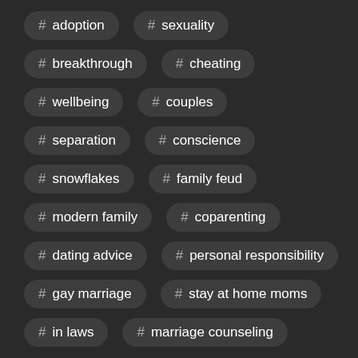# adoption
# sexuality
# breakthrough
# cheating
# wellbeing
# couples
# separation
# conscience
# snowflakes
# family feud
# modern family
# coparenting
# dating advice
# personal responsibility
# gay marriage
# stay at home moms
# in laws
# marriage counseling